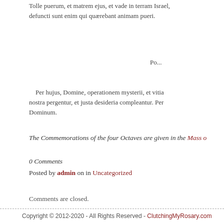Tolle puerum, et matrem ejus, et vade in terram Israel, defuncti sunt enim qui quærebant animam pueri.
Per hujus, Domine, operationem mysterii, et vitia nostra pergentur, et justa desideria compleantur. Per Dominum.
The Commemorations of the four Octaves are given in the Mass o...
0 Comments
Posted by admin on in Uncategorized
Comments are closed.
Copyright © 2012-2020 - All Rights Reserved - ClutchingMyRosary.com